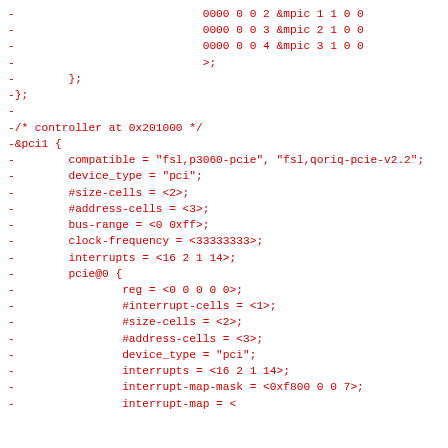-                            0000 0 0 2 &mpic 1 1 0 0
-                            0000 0 0 3 &mpic 2 1 0 0
-                            0000 0 0 4 &mpic 3 1 0 0
-                            >;
-        };
-};
-
-/* controller at 0x201000 */
-&pci1 {
-        compatible = "fsl,p3060-pcie", "fsl,qoriq-pcie-v2.2";
-        device_type = "pci";
-        #size-cells = <2>;
-        #address-cells = <3>;
-        bus-range = <0 0xff>;
-        clock-frequency = <33333333>;
-        interrupts = <16 2 1 14>;
-        pcie@0 {
-                reg = <0 0 0 0 0>;
-                #interrupt-cells = <1>;
-                #size-cells = <2>;
-                #address-cells = <3>;
-                device_type = "pci";
-                interrupts = <16 2 1 14>;
-                interrupt-map-mask = <0xf800 0 0 7>;
-                interrupt-map = <